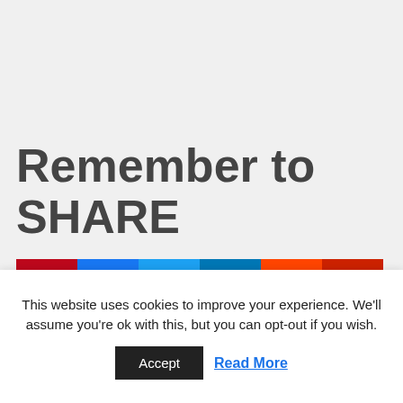Remember to SHARE
[Figure (infographic): Row of social share buttons: Pinterest (red), Facebook (blue), Twitter (light blue), LinkedIn (dark blue), Reddit (orange), Email (dark red), each with an icon and label.]
« PREVIOUS
How To Take More Action T...
NEXT »
How To Accelerate Your Pers...
This website uses cookies to improve your experience. We'll assume you're ok with this, but you can opt-out if you wish.
Accept
Read More